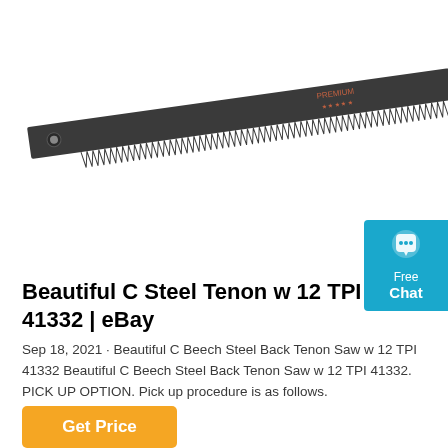[Figure (photo): A hand saw with a long dark steel blade featuring teeth along the bottom edge, and a handle decorated with American flag colors (red, white, blue with stars and stripes). The saw is shown diagonally against a white background.]
[Figure (other): Cyan/teal chat widget with speech bubble icon, text 'Free Chat']
Beautiful C Steel Tenon w 12 TPI 41332 | eBay
Sep 18, 2021 · Beautiful C Beech Steel Back Tenon Saw w 12 TPI 41332 Beautiful C Beech Steel Back Tenon Saw w 12 TPI 41332. PICK UP OPTION. Pick up procedure is as follows.
Get Price